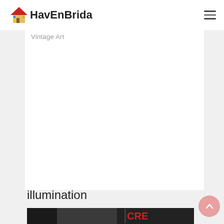HavEnBrida
Vintage Art
illumination
[Figure (photo): A photo strip showing what appears to be a license plate or sign with letters 'CRE' visible in red and white, dark background]